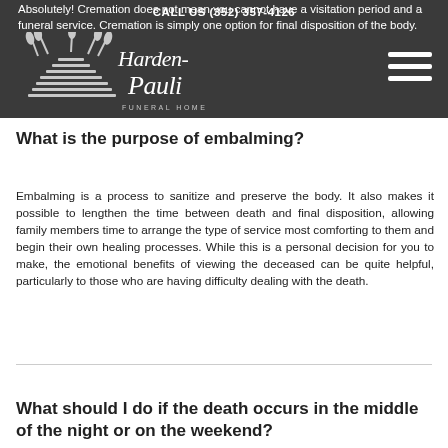CALL US (352) 357-4126
Absolutely! Cremation does not mean you cannot have a visitation period and a funeral service. Cremation is simply one option for final disposition of the body.
[Figure (logo): Harden-Pauli Funeral Home logo with wheat sheaf graphic and script lettering]
What is the purpose of embalming?
Embalming is a process to sanitize and preserve the body. It also makes it possible to lengthen the time between death and final disposition, allowing family members time to arrange the type of service most comforting to them and begin their own healing processes. While this is a personal decision for you to make, the emotional benefits of viewing the deceased can be quite helpful, particularly to those who are having difficulty dealing with the death.
What should I do if the death occurs in the middle of the night or on the weekend?